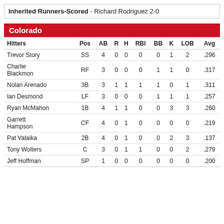Inherited Runners-Scored - Richard Rodriguez 2-0
Colorado
| Hitters | Pos | AB | R | H | RBI | BB | K | LOB | Avg |
| --- | --- | --- | --- | --- | --- | --- | --- | --- | --- |
| Trevor Story | SS | 4 | 0 | 0 | 0 | 0 | 1 | 2 | .296 |
| Charlie Blackmon | RF | 3 | 0 | 0 | 0 | 1 | 1 | 0 | .317 |
| Nolan Arenado | 3B | 3 | 1 | 1 | 1 | 1 | 0 | 1 | .311 |
| Ian Desmond | LF | 3 | 0 | 0 | 0 | 1 | 1 | 1 | .257 |
| Ryan McMahon | 1B | 4 | 1 | 1 | 0 | 0 | 3 | 3 | .260 |
| Garrett Hampson | CF | 4 | 0 | 1 | 0 | 0 | 0 | 0 | .219 |
| Pat Valaika | 2B | 4 | 0 | 1 | 0 | 0 | 2 | 3 | .137 |
| Tony Wolters | C | 3 | 0 | 1 | 1 | 0 | 0 | 2 | .279 |
| Jeff Hoffman | SP | 1 | 0 | 0 | 0 | 0 | 0 | 0 | .200 |